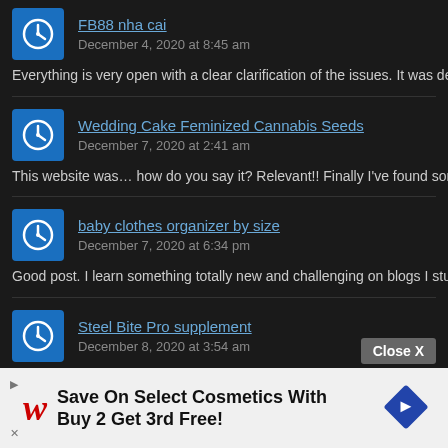FB88 nha cai
December 4, 2020 at 8:45 am
Everything is very open with a clear clarification of the issues. It was definitely info
Wedding Cake Feminized Cannabis Seeds
December 7, 2020 at 2:41 am
This website was… how do you say it? Relevant!! Finally I've found something wh
baby clothes organizer by size
December 7, 2020 at 6:34 pm
Good post. I learn something totally new and challenging on blogs I stumbleupon
Steel Bite Pro supplement
December 8, 2020 at 3:54 am
Hello, There's no doubt that your site could possibly be having web browser comp wonderful
Close X
Save On Select Cosmetics With Buy 2 Get 3rd Free!